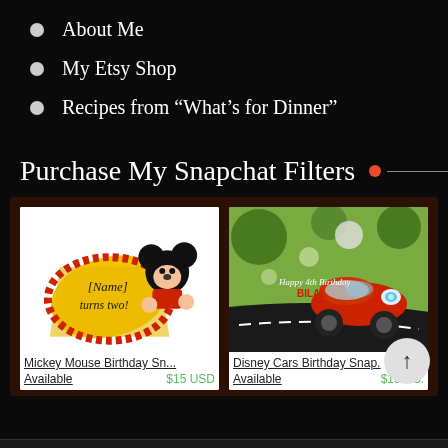About Me
My Etsy Shop
Recipes from “What’s for Dinner”
Purchase My Snapchat Filters
[Figure (screenshot): Two Etsy shop product thumbnails: Mickey Mouse Birthday Snapchat filter ($15 USD, Available) and Disney Cars Birthday Snapchat filter ($15 USD, Available), displayed on a dark brown background panel.]